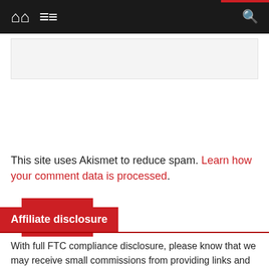Navigation bar with home, menu, and search icons
[Figure (screenshot): Text input box (comment form field)]
Post Comment
This site uses Akismet to reduce spam. Learn how your comment data is processed.
Affiliate disclosure
With full FTC compliance disclosure, please know that we may receive small commissions from providing links and sharing ads, but the price is the same for you. The team has your best interest at heart, we care as much about your health as you do.